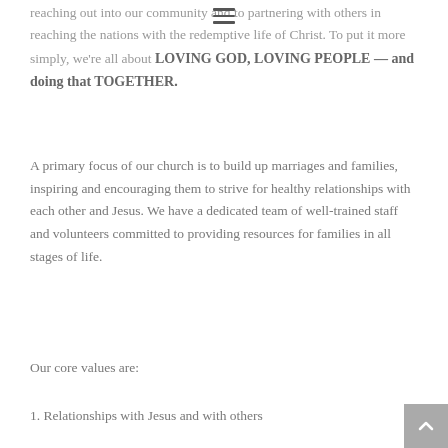reaching out into our community and to partnering with others in reaching the nations with the redemptive life of Christ. To put it more simply, we're all about LOVING GOD, LOVING PEOPLE — and doing that TOGETHER.
A primary focus of our church is to build up marriages and families, inspiring and encouraging them to strive for healthy relationships with each other and Jesus. We have a dedicated team of well-trained staff and volunteers committed to providing resources for families in all stages of life.
Our core values are:
1. Relationships with Jesus and with others